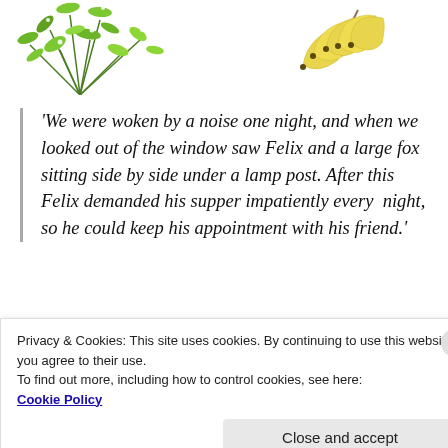[Figure (illustration): Green leafy foliage/plant illustration on the left side of the top area, and yellow bananas illustration on the right side of the top area]
'We were woken by a noise one night, and when we looked out of the window saw Felix and a large fox sitting side by side under a lamp post. After this Felix demanded his supper impatiently every  night, so he could keep his appointment with his friend.'
[Figure (illustration): Pencil/charcoal sketch of what appears to be an animal or scene, partially visible at the bottom of the page]
Privacy & Cookies: This site uses cookies. By continuing to use this website, you agree to their use.
To find out more, including how to control cookies, see here:
Cookie Policy
Close and accept